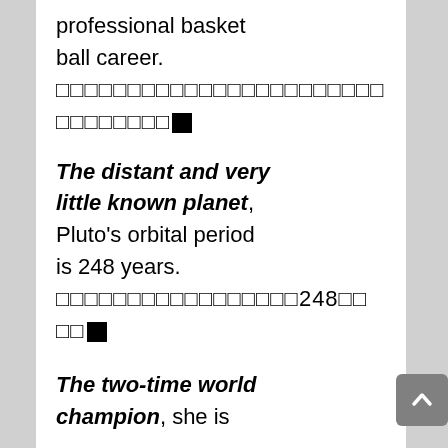professional basket ball career. [redacted text with black box]
The distant and very little known planet, Pluto's orbital period is 248 years. [redacted text]248[redacted][black box]
The two-time world champion, she is